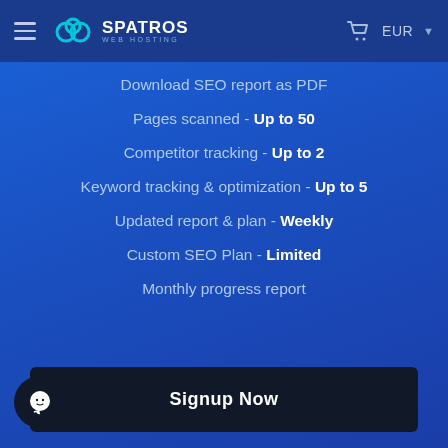[Figure (screenshot): Spatros Web Hosting navigation bar with hamburger menu, logo, shopping cart icon, and EUR currency selector]
Download SEO report as PDF
Pages scanned - Up to 50
Competitor tracking - Up to 2
Keyword tracking & optimization - Up to 5
Updated report & plan - Weekly
Custom SEO Plan - Limited
Monthly progress report
Signup Now